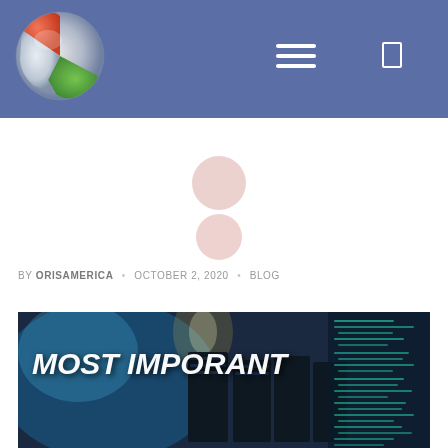[Figure (logo): OrisAmerica logo: a 3D sphere with red, green, and white/silver sections, on a blue-purple header background]
BY ORISAMERICA • OCTOBER 2, 2020 • BLOG
[Figure (photo): Article header image showing server racks with code overlay text and the heading MOST IMPORANT in white bold italic text]